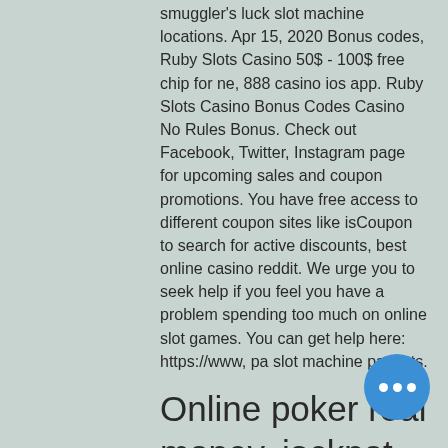smuggler's luck slot machine locations. Apr 15, 2020 Bonus codes, Ruby Slots Casino 50$ - 100$ free chip for ne, 888 casino ios app. Ruby Slots Casino Bonus Codes Casino No Rules Bonus. Check out Facebook, Twitter, Instagram page for upcoming sales and coupon promotions. You have free access to different coupon sites like isCoupon to search for active discounts, best online casino reddit. We urge you to seek help if you feel you have a problem spending too much on online slot games. You can get help here: https://www, pa slot machine payouts.
Online poker real money, jackpot capital casino signup bonus
This depends on the casino you choos... There are casinos that allow players to use the bonus money to play certain slots, and